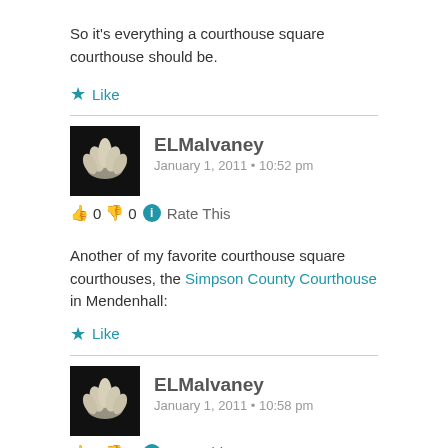So it's everything a courthouse square courthouse should be.
★ Like
ELMalvaney
January 1, 2011 • 10:52 pm
👍 0 👎 0 ℹ Rate This
Another of my favorite courthouse square courthouses, the Simpson County Courthouse in Mendenhall:
★ Like
ELMalvaney
January 1, 2011 • 10:58 pm
👍 0 👎 0 ℹ Rate This
And back in Lexington, a rare survivor, the old stagecoach inn on Depot Street:
https://misspreservation.com/2009/08/04/to-lexington-miss-